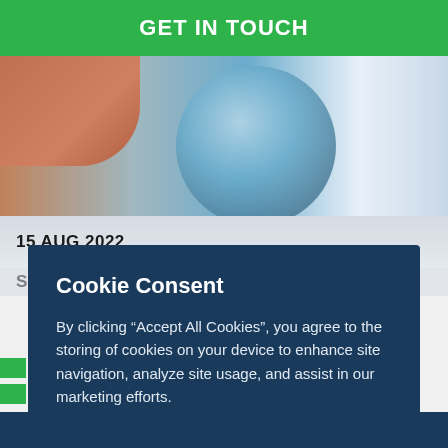GET IN TOUCH
[Figure (photo): Hero banner image showing a hand holding a glass globe with trees and sky reflected inside, against a blue sky background]
15 AUG 2022
Cookie Consent
By clicking “Accept All Cookies”, you agree to the storing of cookies on your device to enhance site navigation, analyze site usage, and assist in our marketing efforts.
Reject All
Accept All Cookies
Cookies Settings